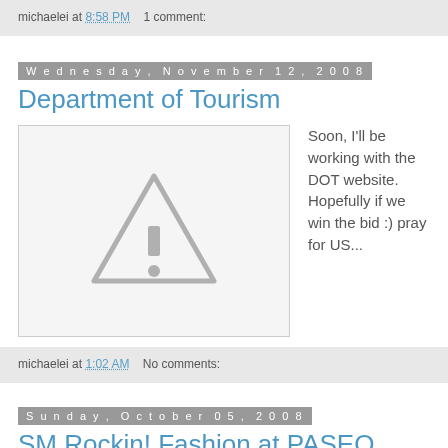michaelei at 8:58 PM   1 comment:
Wednesday, November 12, 2008
Department of Tourism
[Figure (illustration): Broken image placeholder showing a grey triangle with exclamation mark warning icon on a light grey background with border]
Soon, I'll be working with the DOT website. Hopefully if we win the bid :) pray for US...
michaelei at 1:02 AM   No comments:
Sunday, October 05, 2008
SM Rockin! Fashion at PASEO